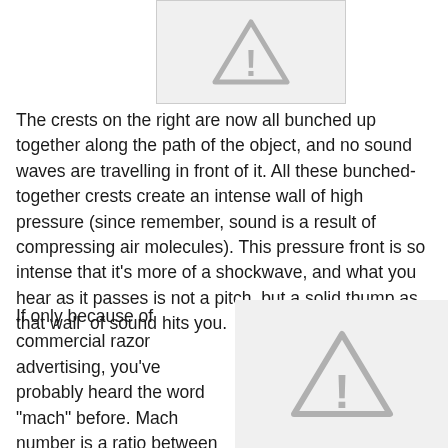[Figure (illustration): Warning triangle icon with exclamation mark, light gray, inside a white box with gray border]
The crests on the right are now all bunched up together along the path of the object, and no sound waves are travelling in front of it. All these bunched-together crests create an intense wall of high pressure (since remember, sound is a result of compressing air molecules). This pressure front is so intense that it’s more of a shockwave, and what you hear as it passes is not a pitch, but a solid thump as that wall  of sound hits you.
If only because of commercial razor advertising, you’ve probably heard the word “mach” before. Mach number is a ratio between travelling speed and the speed of sound. Moving
[Figure (illustration): Warning triangle icon with exclamation mark, light gray, larger size]